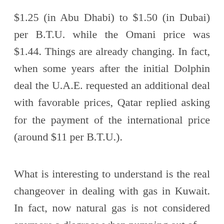$1.25 (in Abu Dhabi) to $1.50 (in Dubai) per B.T.U. while the Omani price was $1.44. Things are already changing. In fact, when some years after the initial Dolphin deal the U.A.E. requested an additional deal with favorable prices, Qatar replied asking for the payment of the international price (around $11 per B.T.U.).
What is interesting to understand is the real changeover in dealing with gas in Kuwait. In fact, now natural gas is not considered anymore a disgrace when pumping out of